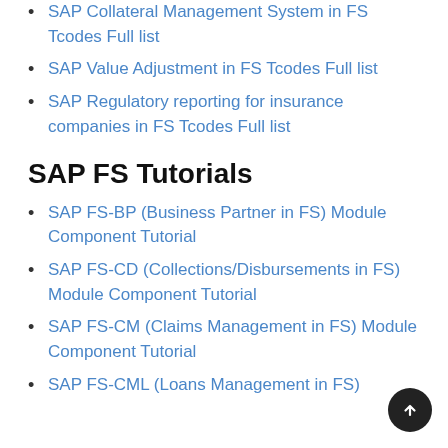SAP Collateral Management System in FS Tcodes Full list
SAP Value Adjustment in FS Tcodes Full list
SAP Regulatory reporting for insurance companies in FS Tcodes Full list
SAP FS Tutorials
SAP FS-BP (Business Partner in FS) Module Component Tutorial
SAP FS-CD (Collections/Disbursements in FS) Module Component Tutorial
SAP FS-CM (Claims Management in FS) Module Component Tutorial
SAP FS-CML (Loans Management in FS) Module...